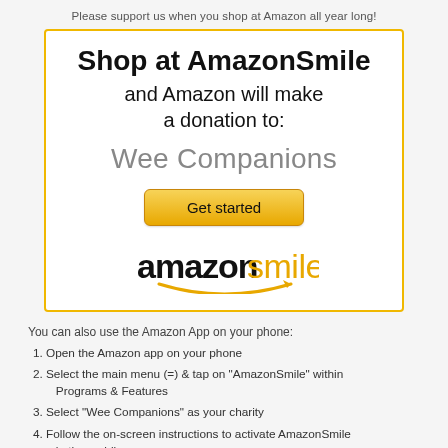Please support us when you shop at Amazon all year long!
[Figure (infographic): AmazonSmile promotional box with yellow border containing 'Shop at AmazonSmile and Amazon will make a donation to: Wee Companions', a yellow 'Get started' button, and the amazonsmile logo.]
You can also use the Amazon App on your phone:
Open the Amazon app on your phone
Select the main menu (=) & tap on "AmazonSmile" within Programs & Features
Select "Wee Companions" as your charity
Follow the on-screen instructions to activate AmazonSmile in the mobile app